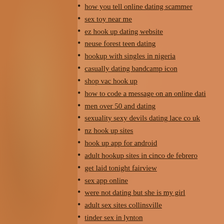how you tell online dating scammer
sex toy near me
ez hook up dating website
neuse forest teen dating
hookup with singles in nigeria
casually dating bandcamp icon
shop vac hook up
how to code a message on an online dati…
men over 50 and dating
sexuality sexy devils dating lace co uk
nz hook up sites
hook up app for android
adult hookup sites in cinco de febrero
get laid tonight fairview
sex app online
were not dating but she is my girl
adult sex sites collinsville
tinder sex in lynton
where to find sex maryport
women seeking men de parral
gay hookup sydney
adult sex meet in bonita springs
christian internet dating sites
hookup verification clearance
what hook up websites actually work
local sex meets parental